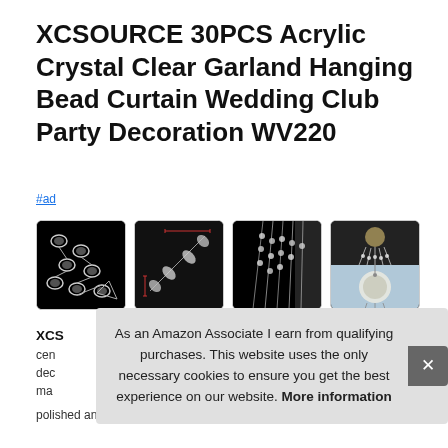XCSOURCE 30PCS Acrylic Crystal Clear Garland Hanging Bead Curtain Wedding Club Party Decoration WV220
#ad
[Figure (photo): Four product photos of crystal bead curtain: close-up of clear acrylic beads on black background, measurement diagram of single bead piece on black, draped crystal curtain on black, and chandelier installation photos]
XCS
cen
dec
ma
polished and smooth, non toxic and odorless, no fading and no
As an Amazon Associate I earn from qualifying purchases. This website uses the only necessary cookies to ensure you get the best experience on our website. More information